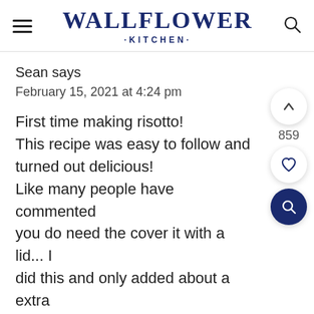WALLFLOWER KITCHEN
Sean says
February 15, 2021 at 4:24 pm
First time making risotto! This recipe was easy to follow and turned out delicious! Like many people have commented you do need the cover it with a lid... I did this and only added about a extra 1/4 cup water, though I did guestimate the rice as I couldn't find